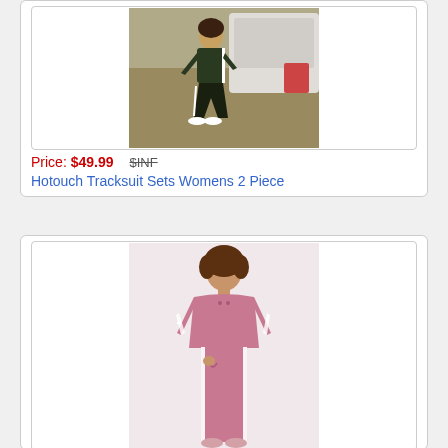[Figure (photo): Woman wearing dark green/olive tracksuit with white side stripes, crouching outdoors near a camper/trailer, wearing white sneakers]
Price: $49.99   $INF
Hotouch Tracksuit Sets Womens 2 Piece
[Figure (photo): Woman wearing pink tracksuit with white side stripes, standing upright, showing full outfit with hoodie top and matching pants]